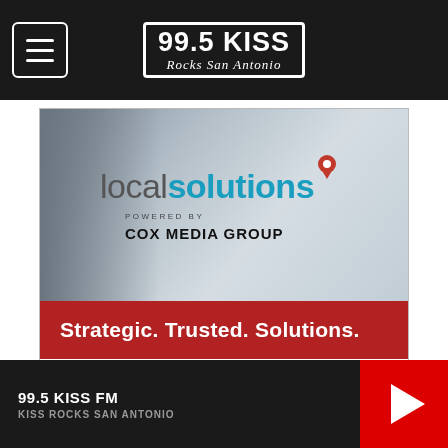99.5 KISS Rocks San Antonio
[Figure (advertisement): Local Solutions powered by Cox Media Group advertisement. Text: 'Strategic. Trusted. Solutions.' and 'LEARN MORE »']
NEWSLETTER
Sign up below to be added to our mailing list for the latest news updates, access to exclusive contests, and more!
99.5 KISS FM  KISS ROCKS SAN ANTONIO